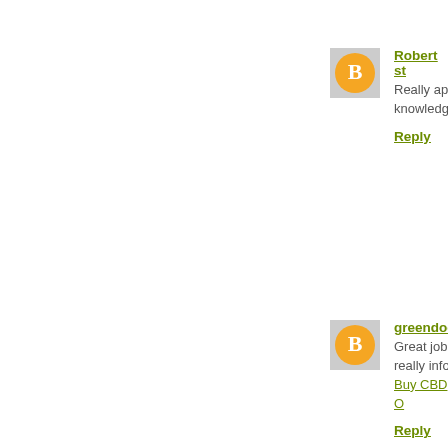Robert st
Really ap knowledge
Reply
greendoo
Great job really info Buy CBD O
Reply
kevin Fe
I am reall writing th EU countri
Reply
Simmy s
Nice infor